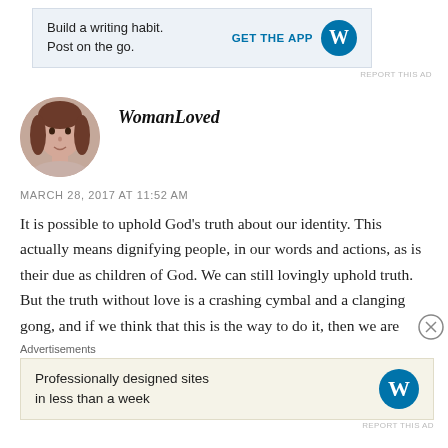[Figure (other): Top advertisement banner: 'Build a writing habit. Post on the go.' with GET THE APP button and WordPress logo]
REPORT THIS AD
[Figure (photo): Circular avatar photo of a woman with brown hair]
WomanLoved
MARCH 28, 2017 AT 11:52 AM
It is possible to uphold God’s truth about our identity. This actually means dignifying people, in our words and actions, as is their due as children of God. We can still lovingly uphold truth. But the truth without love is a crashing cymbal and a clanging gong, and if we think that this is the way to do it, then we are
Advertisements
[Figure (other): Bottom advertisement: 'Professionally designed sites in less than a week' with WordPress logo]